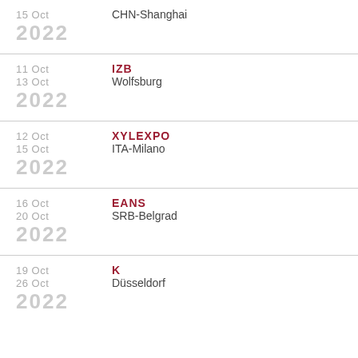15 Oct CHN-Shanghai 2022
11 Oct – 13 Oct IZB Wolfsburg 2022
12 Oct – 15 Oct XYLEXPO ITA-Milano 2022
16 Oct – 20 Oct EANS SRB-Belgrad 2022
19 Oct – 26 Oct K Düsseldorf 2022